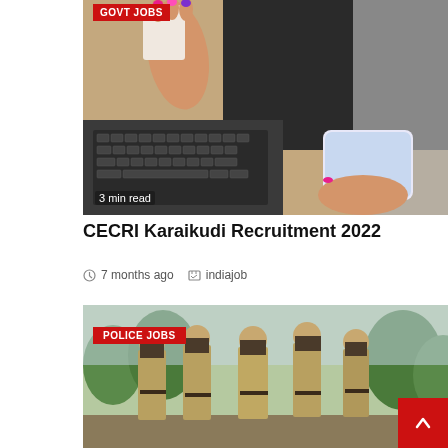[Figure (photo): Woman holding a coffee cup and smartphone near a laptop keyboard, with colorful painted nails visible. Category badge 'GOVT JOBS' in top-left corner. Text '3 min read' in bottom-left corner.]
CECRI Karaikudi Recruitment 2022
7 months ago   indiajob
[Figure (photo): Group of police officers or uniformed personnel standing and talking outdoors. Category badge 'POLICE JOBS' in top-left corner.]